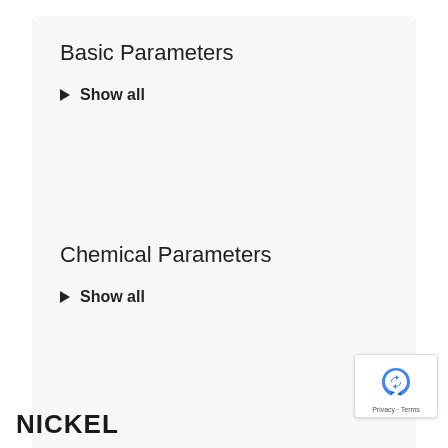Basic Parameters
▶ Show all
Chemical Parameters
▶ Show all
NICKEL
[Figure (logo): Google reCAPTCHA badge with blue recycle-arrow logo and Privacy · Terms text]